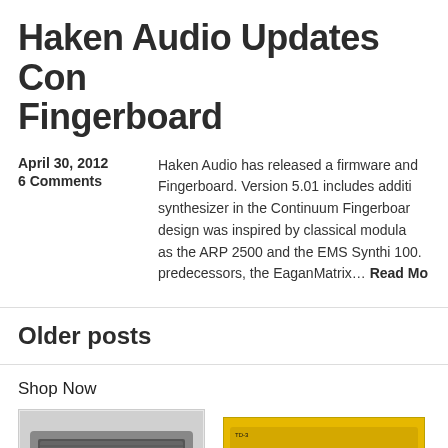Haken Audio Updates Continuum Fingerboard
April 30, 2012
6 Comments
Haken Audio has released a firmware and software update for the Continuum Fingerboard. Version 5.01 includes additions to the internal synthesizer in the Continuum Fingerboard. The synthesizer design was inspired by classical modular synthesizers such as the ARP 2500 and the EMS Synthi 100. Like its predecessors, the EaganMatrix… Read More
Older posts
Shop Now
[Figure (photo): Product image of a dark-colored electronic device/synthesizer component]
[Figure (photo): Yellow Roland TB-3 bass synthesizer product image]